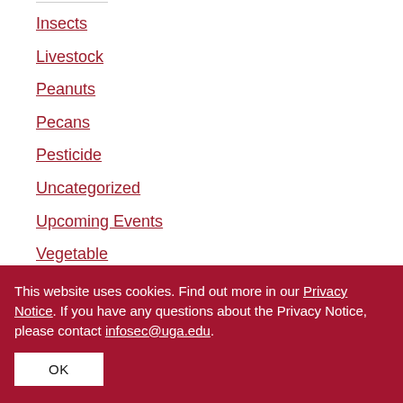Insects
Livestock
Peanuts
Pecans
Pesticide
Uncategorized
Upcoming Events
Vegetable
Weeds
This website uses cookies. Find out more in our Privacy Notice. If you have any questions about the Privacy Notice, please contact infosec@uga.edu.
OK